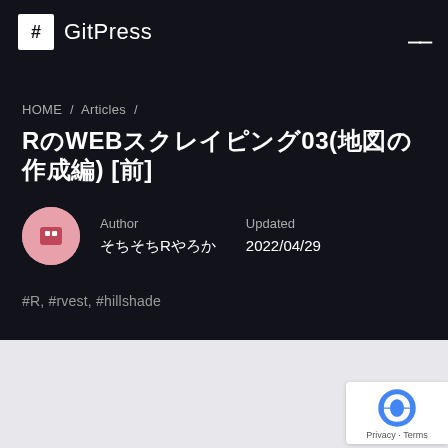# GitPress
HOME / Articles /
RのWEBスクレイピング03(地図の作成編) [前]
Author: ぼちぼちRやろか  Updated: 2022/04/29
#R, #rvest, #hillshade
ARTICLE OUTLINE